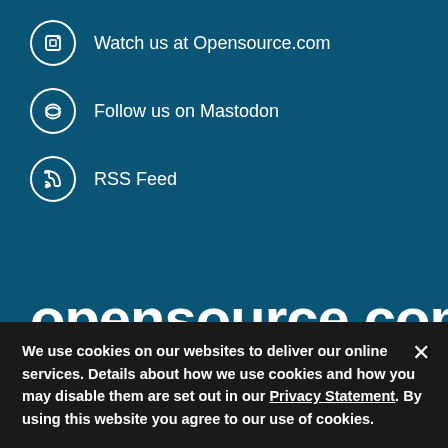Watch us at Opensource.com
Follow us on Mastodon
RSS Feed
opensource.com
Copyright ©2022 Red Hat, Inc.
Privacy Policy
Terms of Use
We use cookies on our websites to deliver our online services. Details about how we use cookies and how you may disable them are set out in our Privacy Statement. By using this website you agree to our use of cookies.